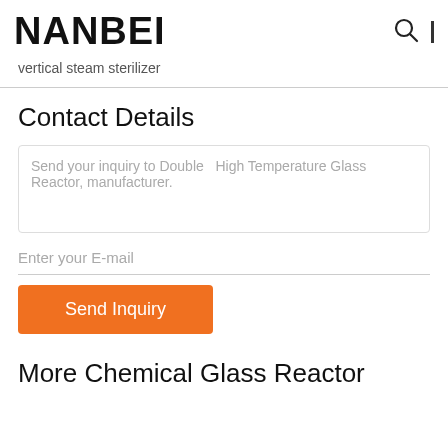NANBEI
vertical steam sterilizer
Contact Details
Send your inquiry to Double  High Temperature Glass Reactor, manufacturer.
Enter your E-mail
Send Inquiry
More Chemical Glass Reactor